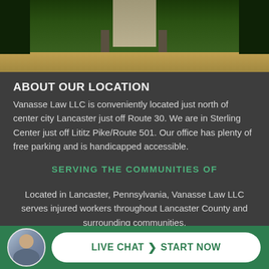[Figure (photo): Exterior photo showing green hedges along a building entrance with a concrete walkway and gravel ground cover]
ABOUT OUR LOCATION
Vanasse Law LLC is conveniently located just north of center city Lancaster just off Route 30. We are in Sterling Center just off Lititz Pike/Route 501. Our office has plenty of free parking and is handicapped accessible.
SERVING THE COMMUNITIES OF
Located in Lancaster, Pennsylvania, Vanasse Law LLC serves injured workers throughout Lancaster County and surrounding communities.
© 2018 by Vanasse Law LLC. All rights reserved. Sitemap |
[Figure (other): Live chat button bar with attorney avatar photo and 'LIVE CHAT > START NOW' call-to-action button]